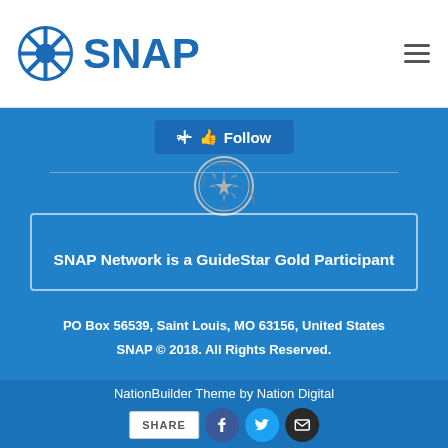[Figure (logo): SNAP organization logo with circular gear/wheel icon and bold blue SNAP text]
[Figure (other): Hamburger menu icon (three horizontal lines)]
Follow
[Figure (logo): GuideStar Silver Transparency 2021 seal badge]
SNAP Network is a GuideStar Gold Participant
PO Box 56539, Saint Louis, MO 63156, United States
SNAP © 2018. All Rights Reserved.
NationBuilder Theme by Nation Digital
SHARE